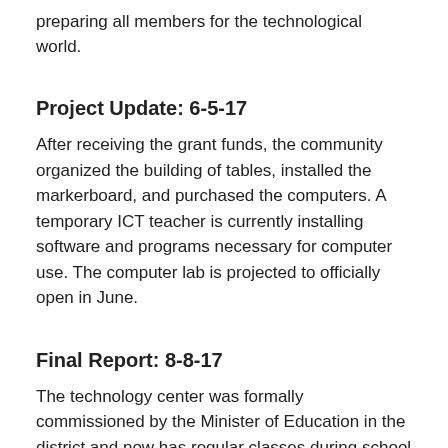preparing all members for the technological world.
Project Update: 6-5-17
After receiving the grant funds, the community organized the building of tables, installed the markerboard, and purchased the computers. A temporary ICT teacher is currently installing software and programs necessary for computer use. The computer lab is projected to officially open in June.
Final Report: 8-8-17
The technology center was formally commissioned by the Minister of Education in the district and now has regular classes during school hours as well as community-wide sessions open in the evening. Local leaders have determined how to establish small fees to cover